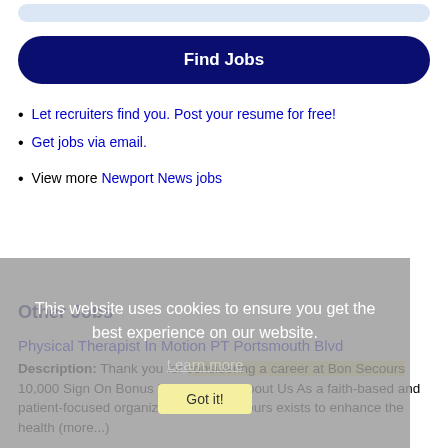[Figure (other): Top partial search bar element (cropped, light blue background pill shape)]
Find Jobs
Let recruiters find you. Post your resume for free!
Get jobs via email.
View more Newport News jobs
This website uses cookies to ensure you get the best experience on our website.
Learn more
Other Jobs
Got it!
Physical Therapist In Motion PT Portsmouth Blvd
Description: Thank you for considering a career at Bon Secours 10,000 Sign On Bonus Bon Secours About Us As a faith-based and patient-focused organization, Bon Secours exists to enhance the health (more...)